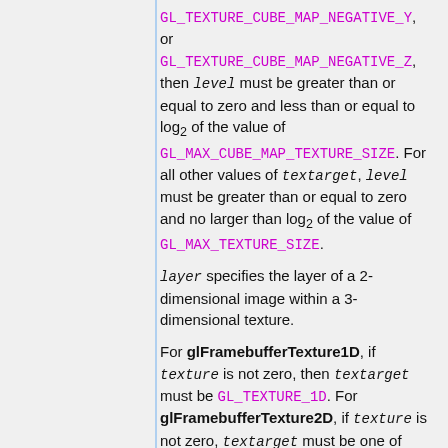GL_TEXTURE_CUBE_MAP_NEGATIVE_Y, or GL_TEXTURE_CUBE_MAP_NEGATIVE_Z, then level must be greater than or equal to zero and less than or equal to log2 of the value of GL_MAX_CUBE_MAP_TEXTURE_SIZE. For all other values of textarget, level must be greater than or equal to zero and no larger than log2 of the value of GL_MAX_TEXTURE_SIZE.
layer specifies the layer of a 2-dimensional image within a 3-dimensional texture.
For glFramebufferTexture1D, if texture is not zero, then textarget must be GL_TEXTURE_1D. For glFramebufferTexture2D, if texture is not zero, textarget must be one of